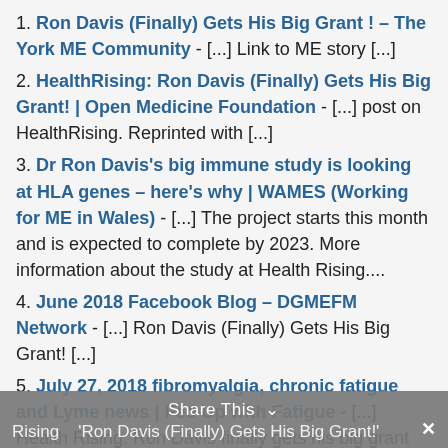1. Ron Davis (Finally) Gets His Big Grant ! – The York ME Community - [...] Link to ME story [...]
2. HealthRising: Ron Davis (Finally) Gets His Big Grant! | Open Medicine Foundation - [...] post on HealthRising. Reprinted with [...]
3. Dr Ron Davis's big immune study is looking at HLA genes – here's why | WAMES (Working for ME in Wales) - [...] The project starts this month and is expected to complete by 2023. More information about the study at Health Rising....
4. June 2018 Facebook Blog – DGMEFM Network - [...] Ron Davis (Finally) Gets His Big Grant! [...]
5. July 27, 2018 fibromyalgia, chronic fatigue and Lyme news | Fed Up with Fatigue - [...] Health Rising: Ron Davis finally gets his big grant [...]
6. NIH Dr. | 5 STRINGS - [...] Health Rising 'Ron Davis (Finally) Gets His Big Grant!'